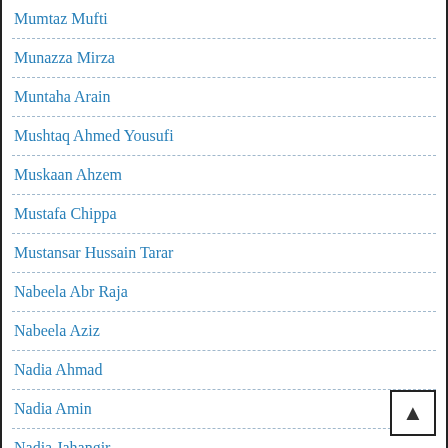Mumtaz Mufti
Munazza Mirza
Muntaha Arain
Mushtaq Ahmed Yousufi
Muskaan Ahzem
Mustafa Chippa
Mustansar Hussain Tarar
Nabeela Abr Raja
Nabeela Aziz
Nadia Ahmad
Nadia Amin
Nadia Jahangir
Nafaas Saeed